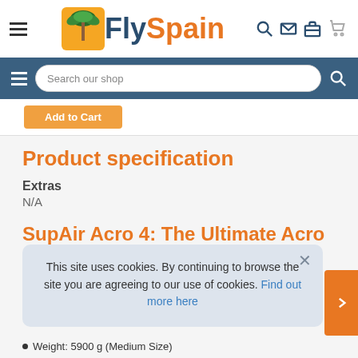[Figure (logo): FlySpain logo with orange/yellow palm tree icon and two-tone text: 'Fly' in dark blue, 'Spain' in orange]
Search our shop
Product specification
Extras
N/A
SupAir Acro 4: The Ultimate Acro H...
This site uses cookies. By continuing to browse the site you are agreeing to our use of cookies. Find out more here
Weight: 5900 g (Medium Size)